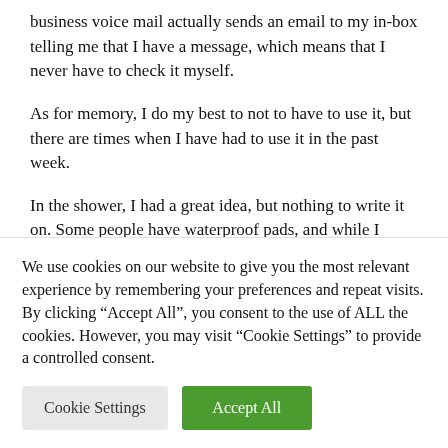business voice mail actually sends an email to my in-box telling me that I have a message, which means that I never have to check it myself.
As for memory, I do my best to not to have to use it, but there are times when I have had to use it in the past week.
In the shower, I had a great idea, but nothing to write it on. Some people have waterproof pads, and while I happen to have one (a remnant of scuba diving days),
We use cookies on our website to give you the most relevant experience by remembering your preferences and repeat visits. By clicking “Accept All”, you consent to the use of ALL the cookies. However, you may visit “Cookie Settings” to provide a controlled consent.
Cookie Settings | Accept All